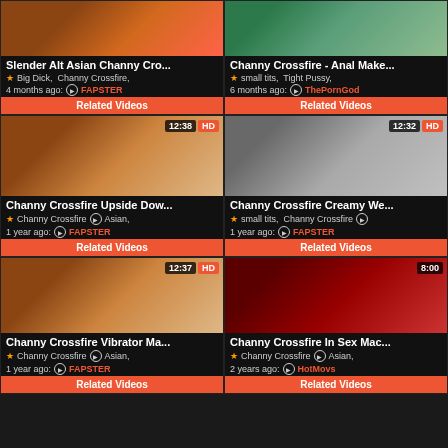[Figure (screenshot): Video thumbnail for Slender Alt Asian Channy Cro...]
Slender Alt Asian Channy Cro...
★ Big Dick, Channy Crossfire,
4 months ago: ▶ FAPSTER
Related Videos
[Figure (screenshot): Video thumbnail for Channy Crossfire - Anal Make...]
Channy Crossfire - Anal Make...
★ small tits, Tight Pussy,
6 months ago: ▶ ThePornGod
Related Videos
[Figure (screenshot): Video thumbnail 12:38 HD - Channy Crossfire Upside Dow...]
Channy Crossfire Upside Dow...
★ Channy Crossfire ▶ Asian,
1 year ago: ▶ FAPSTER
Related Videos
[Figure (screenshot): Video thumbnail 12:32 HD - Channy Crossfire Creamy We...]
Channy Crossfire Creamy We...
★ small tits, Channy Crossfire ▶
1 year ago: ▶ FAPSTER
Related Videos
[Figure (screenshot): Video thumbnail 12:37 HD - Channy Crossfire Vibrator Ma...]
Channy Crossfire Vibrator Ma...
★ Channy Crossfire ▶ Asian,
1 year ago: ▶ FAPSTER
Related Videos
[Figure (screenshot): Video thumbnail 8:00 - Channy Crossfire In Sex Mac...]
Channy Crossfire In Sex Mac...
★ Channy Crossfire ▶ Asian,
2 years ago: ▶ HotMovs
Related Videos